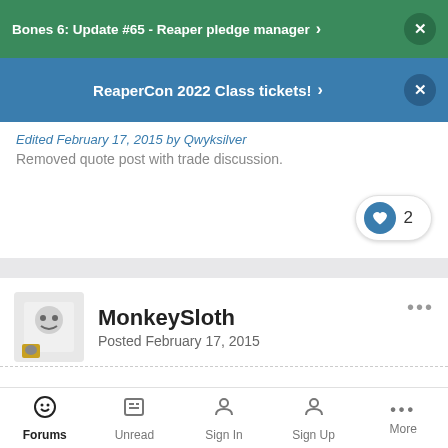Bones 6: Update #65 - Reaper pledge manager
ReaperCon 2022 Class tickets!
Edited February 17, 2015 by Qwyksilver
Removed quote post with trade discussion.
MonkeySloth
Posted February 17, 2015
You can just buy the previous ones from Tre. His website is linked in the KSer.
Edited February 17, 2015 by MonkeySloth
Forums  Unread  Sign In  Sign Up  More